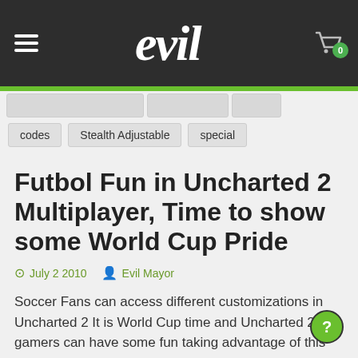evil
codes
Stealth Adjustable
special
Futbol Fun in Uncharted 2 Multiplayer, Time to show some World Cup Pride
July 2 2010   Evil Mayor
Soccer Fans can access different customizations in Uncharted 2 It is World Cup time and Uncharted 2 gamers can have some fun taking advantage of this exciting futb